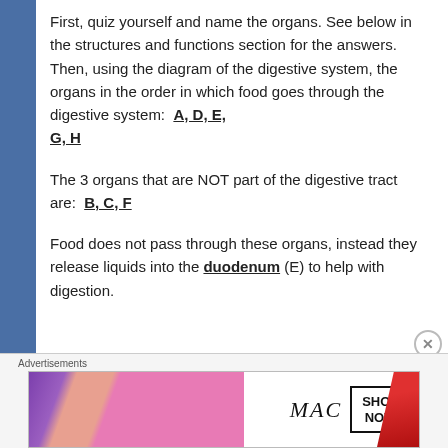First, quiz yourself and name the organs. See below in the structures and functions section for the answers. Then, using the diagram of the digestive system, the organs in the order in which food goes through the digestive system: A, D, E, G, H
The 3 organs that are NOT part of the digestive tract are: B, C, F
Food does not pass through these organs, instead they release liquids into the duodenum (E) to help with digestion.
[Figure (other): Advertisement banner for MAC cosmetics showing lipsticks in purple, pink and red colors with MAC logo and SHOP NOW button]